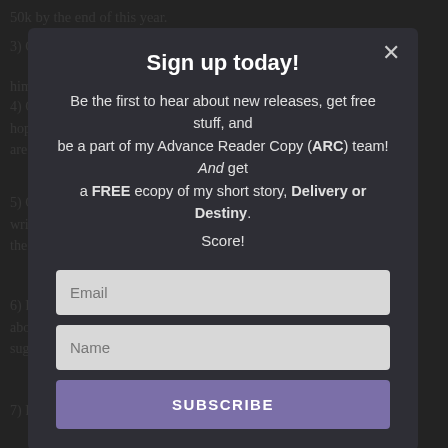50k by the end of this year.
3) Character work on Ezra from my first novel in the Victorian C...
him.
4) Gather ideas for Starstruck short story submission (12k) du... hopping around in my head for this one, but I have to keep it sh... are short worthy. We'll see.
5) Gather ideas for Bah Humbug short story submission (18k) d... write holiday stories in the spring and summer but maybe if I g... the game.
6) Research – crack open the Victorian books or watch somethi... about the daily life of historical people. And I'm always ready fo... suggestions??
7) Read – I'll choose something from my evergrowing TBR pile.
[Figure (screenshot): Newsletter sign-up modal overlay with dark background. Title: 'Sign up today!'. Body text: 'Be the first to hear about new releases, get free stuff, and be a part of my Advance Reader Copy (ARC) team! And get a FREE ecopy of my short story, Delivery or Destiny. Score!'. Email input field, Name input field, and SUBSCRIBE button in purple.]